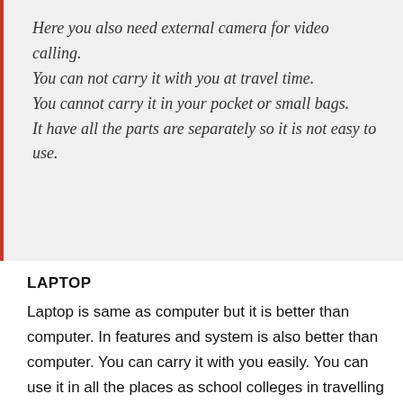Here you also need external camera for video calling. You can not carry it with you at travel time. You cannot carry it in your pocket or small bags. It have all the parts are separately so it is not easy to use.
LAPTOP
Laptop is same as computer but it is better than computer. In features and system is also better than computer. You can carry it with you easily. You can use it in all the places as school colleges in travelling time function library bus train aeroplanes it is a . it make your work easy. with the help of laptop you all can do work easily. This is just like a personal computer. It is more expensive than desktop